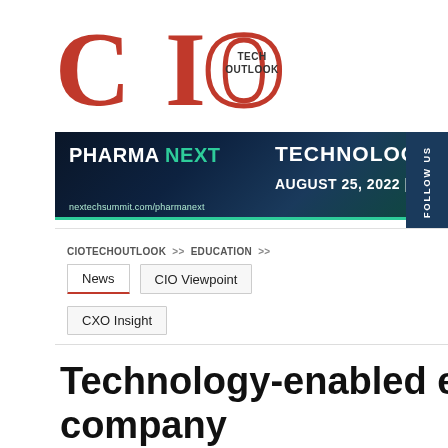[Figure (logo): CIO Tech Outlook magazine logo — large red 'CIO' letters with 'TECH OUTLOOK' text inside the 'O']
[Figure (screenshot): Banner advertisement for PHARMA NEXT event — TECHNOLOGIES TRANS[forming] — AUGUST 25, 2022 — nextechsummit.com/pharmanext]
CIOTECHOUTLOOK >> EDUCATION >>
News | CIO Viewpoint | CXO Insight
Technology-enabled education company